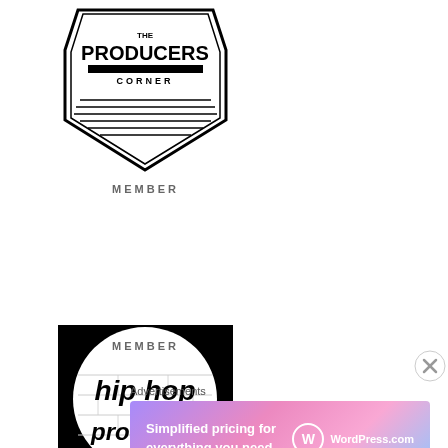[Figure (logo): The Producers Corner logo — black and white badge/shield shape with horizontal lines at bottom, text 'THE PRODUCERS CORNER']
MEMBER
[Figure (logo): Hip Hop Prodigies logo — circular black and white logo with graffiti-style text 'hip hop prodigies' on brick wall background]
MEMBER
Advertisements
[Figure (other): WordPress.com advertisement banner — gradient purple/pink/blue background with text 'Simplified pricing for everything you need.' and WordPress.com logo]